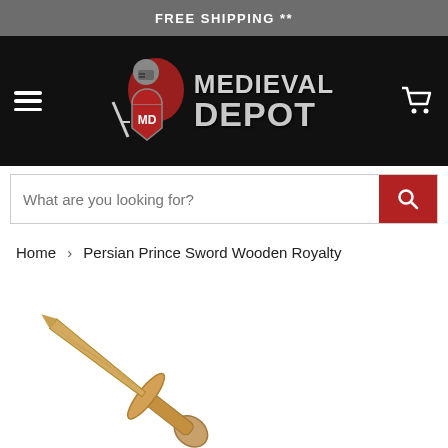FREE SHIPPING **
[Figure (logo): Medieval Depot logo with knight graphic and shield emblem, white cart icon on right, hamburger menu on left]
What are you looking for?
Home > Persian Prince Sword Wooden Royalty
[Figure (photo): Wooden Persian Prince sword toy, natural wood grain finish, cross-guard visible, angled diagonally from lower-left to upper-right]